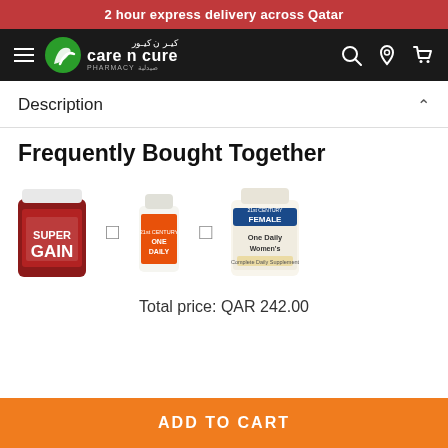2 hour express delivery across Qatar
[Figure (logo): Care n Cure Pharmacy logo with green leaf icon, white text on black navbar background]
Description
Frequently Bought Together
[Figure (photo): Three pharmacy products side by side: Super Gain supplement jar, One Daily vitamin bottle, One Daily Women's vitamin bottle; connected by plus signs]
Total price: QAR 242.00
ADD TO CART